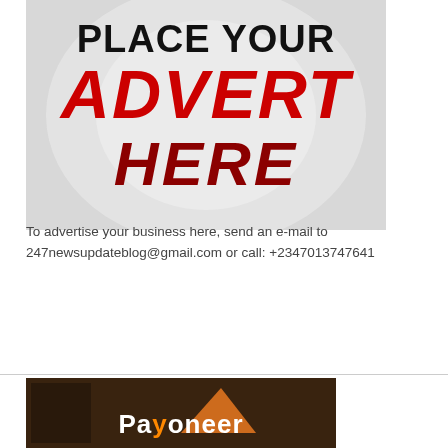[Figure (illustration): Advertisement banner image with light grey background and circular gradient, text reading PLACE YOUR ADVERT HERE in large bold black and red letters]
To advertise your business here, send an e-mail to 247newsupdateblog@gmail.com or call: +2347013747641
[Figure (photo): Partial photo showing Payoneer logo/branding on a dark background with a person visible]